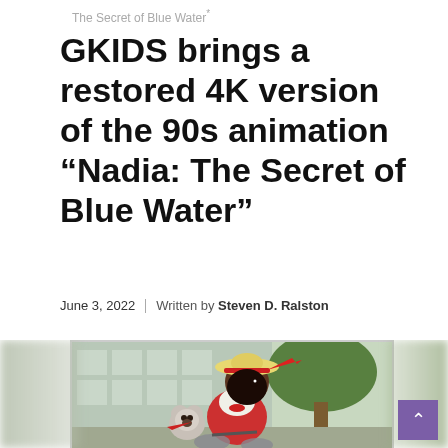The Secret of Blue Water*
GKIDS brings a restored 4K version of the 90s animation “Nadia: The Secret of Blue Water”
June 3, 2022 | Written by Steven D. Ralston
[Figure (illustration): Anime screenshot from Nadia: The Secret of Blue Water showing an animated girl with dark hair wearing a yellow straw hat with a red ribbon, dressed in a red and white outfit, riding on a vehicle with a small koala-like creature beside her. Background shows a building and tree. Image has blurred edges on the left and right sides. A purple scroll-to-top button with a chevron appears in the lower right.]